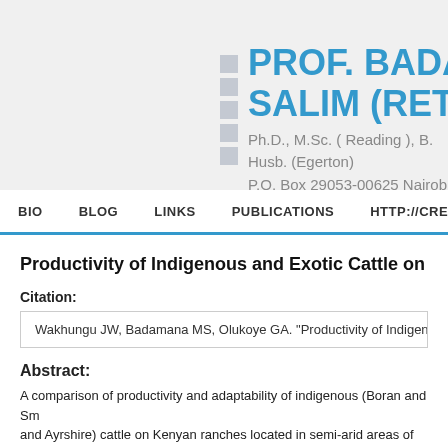PROF. BADAMA SALIM (RETIRED) Ph.D., M.Sc. ( Reading ), B. Husb. (Egerton) P.O. Box 29053-00625 Nairobi, ba
BIO   BLOG   LINKS   PUBLICATIONS   HTTP://CREATIVECO
Productivity of Indigenous and Exotic Cattle on K
Citation:
Wakhungu JW, Badamana MS, Olukoye GA. "Productivity of Indigenous
Abstract:
A comparison of productivity and adaptability of indigenous (Boran and Sm and Ayrshire) cattle on Kenyan ranches located in semi-arid areas of the R cattle breeds over the 1979-1993 period on Deloraine, Elkarama, Ilkerin, N analyzed by the least squares fixed effects model procedures. The least